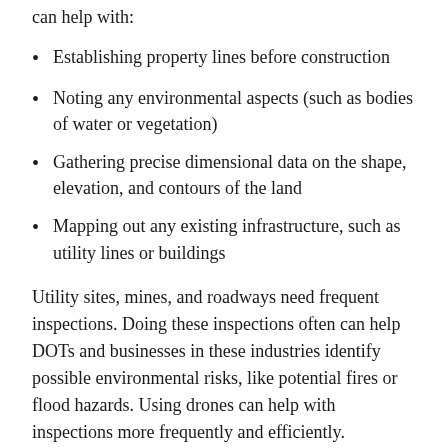can help with:
Establishing property lines before construction
Noting any environmental aspects (such as bodies of water or vegetation)
Gathering precise dimensional data on the shape, elevation, and contours of the land
Mapping out any existing infrastructure, such as utility lines or buildings
Utility sites, mines, and roadways need frequent inspections. Doing these inspections often can help DOTs and businesses in these industries identify possible environmental risks, like potential fires or flood hazards. Using drones can help with inspections more frequently and efficiently.